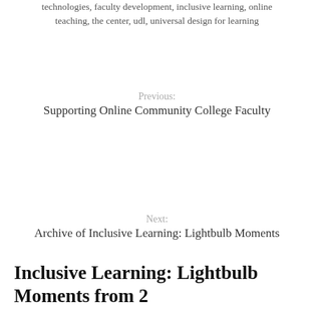technologies, faculty development, inclusive learning, online teaching, the center, udl, universal design for learning
Previous:
Supporting Online Community College Faculty
Next:
Archive of Inclusive Learning: Lightbulb Moments
Inclusive Learning: Lightbulb Moments from 2